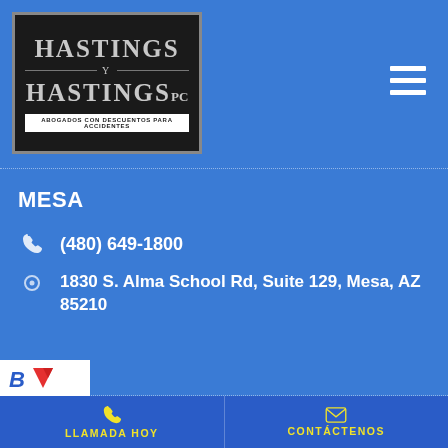[Figure (logo): Hastings y Hastings PC law firm logo — dark box with serif text and tagline 'Abogados con Descuentos para Accidentes']
MESA
(480) 649-1800
1830 S. Alma School Rd, Suite 129, Mesa, AZ 85210
LLAMADA HOY
CONTÁCTENOS